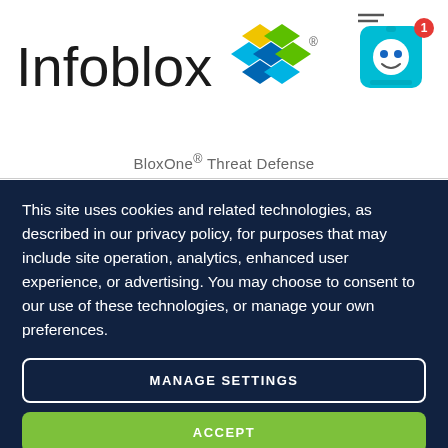[Figure (logo): Infoblox logo with colorful diamond grid icon and company name text]
[Figure (illustration): Robot chatbot avatar icon with notification badge showing number 1]
BloxOne® Threat Defense
This site uses cookies and related technologies, as described in our privacy policy, for purposes that may include site operation, analytics, enhanced user experience, or advertising. You may choose to consent to our use of these technologies, or manage your own preferences.
MANAGE SETTINGS
ACCEPT
DECLINE ALL